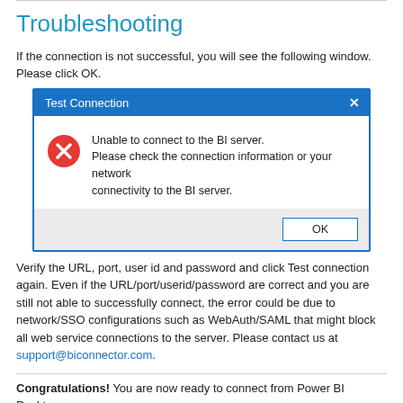Troubleshooting
If the connection is not successful, you will see the following window. Please click OK.
[Figure (screenshot): Dialog box titled 'Test Connection' with a blue title bar and an X close button. Inside shows a red circle with X error icon and the message: 'Unable to connect to the BI server. Please check the connection information or your network connectivity to the BI server.' A gray footer area contains an OK button.]
Verify the URL, port, user id and password and click Test connection again. Even if the URL/port/userid/password are correct and you are still not able to successfully connect, the error could be due to network/SSO configurations such as WebAuth/SAML that might block all web service connections to the server. Please contact us at support@biconnector.com.
Congratulations! You are now ready to connect from Power BI Desktop